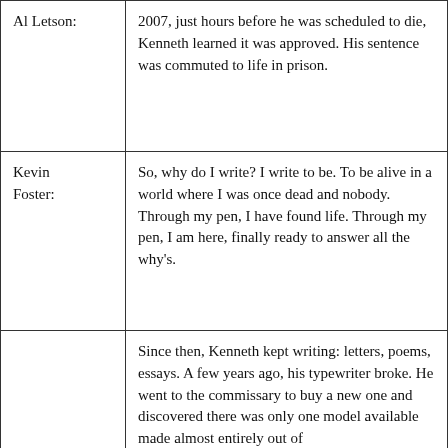| Speaker | Text |
| --- | --- |
| Al Letson: | 2007, just hours before he was scheduled to die, Kenneth learned it was approved. His sentence was commuted to life in prison. |
| Kevin Foster: | So, why do I write? I write to be. To be alive in a world where I was once dead and nobody. Through my pen, I have found life. Through my pen, I am here, finally ready to answer all the why's. |
| Al Letson: | Since then, Kenneth kept writing: letters, poems, essays. A few years ago, his typewriter broke. He went to the commissary to buy a new one and discovered there was only one model available made almost entirely out of [text continues] |